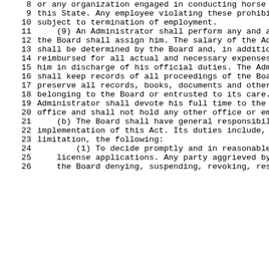8  or any organization engaged in conducting horse
9  this State. Any employee violating these prohibi
10 subject to termination of employment.
11     (9) An Administrator shall perform any and a
12 the Board shall assign him. The salary of the Ad
13 shall be determined by the Board and, in additio
14 reimbursed for all actual and necessary expenses
15 him in discharge of his official duties. The Adm
16 shall keep records of all proceedings of the Boa
17 preserve all records, books, documents and other
18 belonging to the Board or entrusted to its care.
19 Administrator shall devote his full time to the
20 office and shall not hold any other office or em
21     (b) The Board shall have general responsibil
22 implementation of this Act. Its duties include,
23 limitation, the following:
24         (1) To decide promptly and in reasonable
25     license applications. Any party aggrieved by
26     the Board denying, suspending, revoking, res